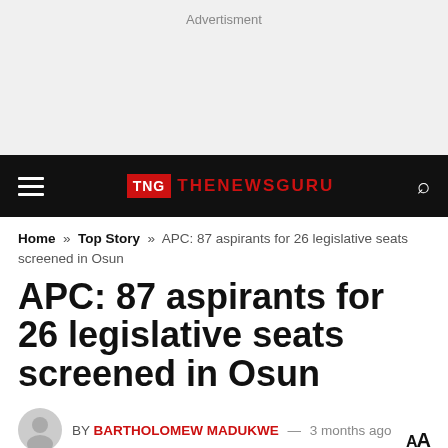Advertisment
[Figure (logo): TNG THENEWSGURU navigation bar logo with hamburger menu and search icon on black background]
Home » Top Story » APC: 87 aspirants for 26 legislative seats screened in Osun
APC: 87 aspirants for 26 legislative seats screened in Osun
BY BARTHOLOMEW MADUKWE — 3 months ago
Reading Time: 2 mins read